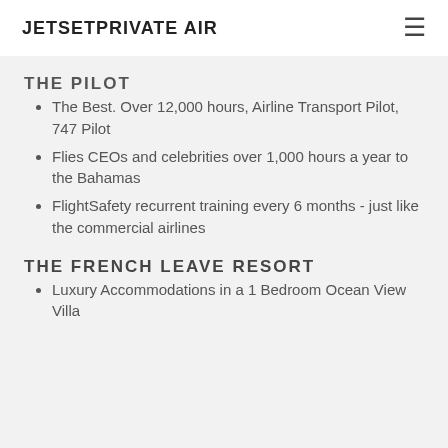JetsetPrivate Air
THE PILOT
The Best. Over 12,000 hours, Airline Transport Pilot, 747 Pilot
Flies CEOs and celebrities over 1,000 hours a year to the Bahamas
FlightSafety recurrent training every 6 months - just like the commercial airlines
THE FRENCH LEAVE RESORT
Luxury Accommodations in a 1 Bedroom Ocean View Villa